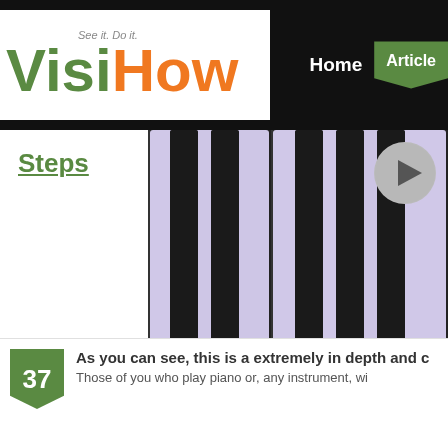VisiHow — See it. Do it. | Home | Articles
Steps
[Figure (photo): Close-up screenshot of piano keyboard from VisiHow tutorial, showing white and black keys with 'C3' label on a white key, with a circular play button in the upper right corner.]
37 As you can see, this is a extremely in depth and c... Those of you who play piano or, any instrument, wi...